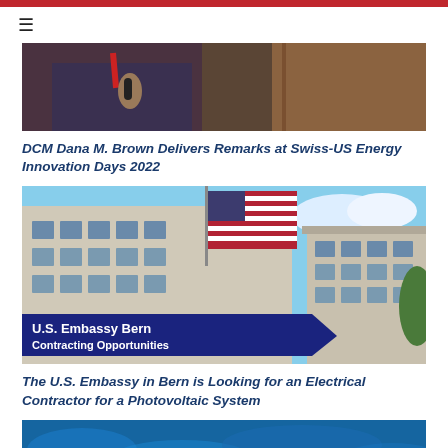≡
[Figure (photo): Person holding a microphone at Swiss-US Energy Innovation Days 2022, wearing a red lanyard]
DCM Dana M. Brown Delivers Remarks at Swiss-US Energy Innovation Days 2022
[Figure (photo): U.S. Embassy Bern building with American flag and banner reading 'U.S. Embassy Bern Contracting Opportunities']
The U.S. Embassy in Bern is Looking for an Electrical Contractor for a Photovoltaic System
[Figure (photo): Blue toned image, partially visible at bottom of page]